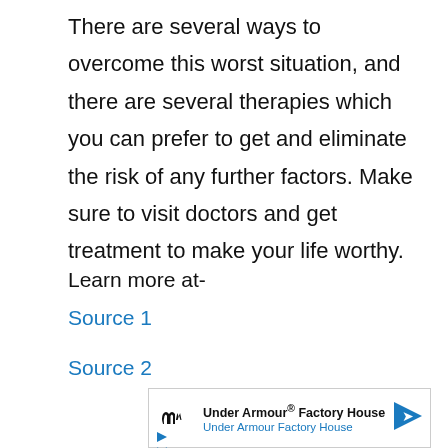There are several ways to overcome this worst situation, and there are several therapies which you can prefer to get and eliminate the risk of any further factors. Make sure to visit doctors and get treatment to make your life worthy.
Learn more at-
Source 1
Source 2
[Figure (other): Advertisement box for Under Armour Factory House with logo, navigation arrow icon, and small close/play icons]